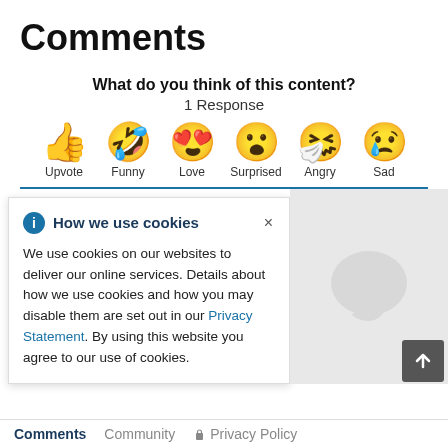Comments
What do you think of this content?
1 Response
[Figure (illustration): Six reaction emoji icons in a row with labels: Upvote (thumbs up), Funny (laughing with tongue), Love (heart eyes), Surprised (open mouth), Angry (sick/masked), Sad (crying)]
How we use cookies
We use cookies on our websites to deliver our online services. Details about how we use cookies and how you may disable them are set out in our Privacy Statement. By using this website you agree to our use of cookies.
Comments  Community  Privacy Policy